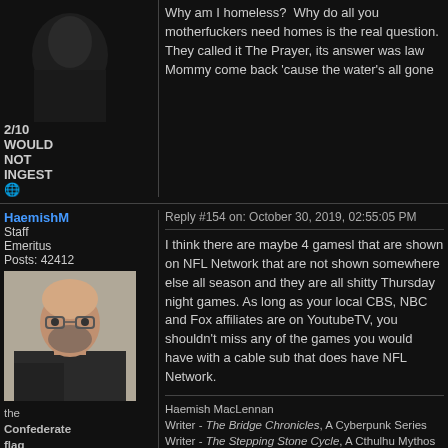[Figure (screenshot): Dark avatar image of a shadowy figure, partial view at top of page]
2/10
WOULD NOT INGEST
[Figure (illustration): Globe/earth emoji icon]
Why am I homeless?  Why do all you motherfuckers need homes is the real question.
They called it The Prayer, its answer was law
Mommy come back 'cause the water's all gone
HaemishM
Staff Emeritus
Posts: 42412
Reply #154 on: October 30, 2019, 02:55:05 PM
[Figure (photo): Profile photo of a bald bearded man wearing glasses]
the Confederate flag underneath the stone in my class ring
I think there are maybe 4 gamesl that are shown on NFL Network that are not shown somewhere else all season and they are all shitty Thursday night games. As long as your local CBS, NBC and Fox affiliates are on YoutubeTV, you shouldn't miss any of the games you would have with a cable sub that does have NFL Network.
Haemish MacLennan
Writer - The Bridge Chronicles, A Cyberpunk Series
Writer - The Stepping Stone Cycle, A Cthulhu Mythos Series
Gary Ballard, Author